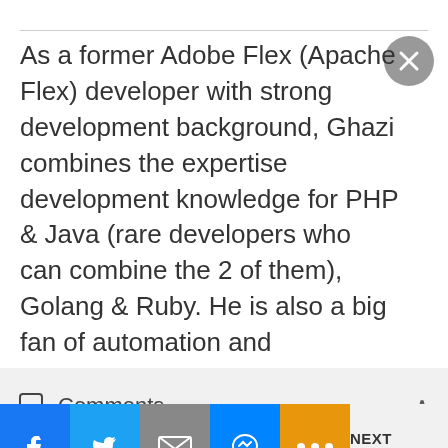As a former Adobe Flex (Apache Flex) developer with strong development background, Ghazi combines the expertise development knowledge for PHP & Java (rare developers who can combine the 2 of them), Golang & Ruby. He is also a big fan of automation and orchestration, love continuous integration tools like Jenkins and make them allies of his journey.
Comments
NEXT ARTICLE >